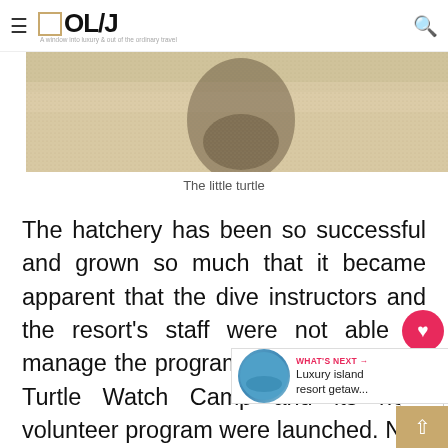OL/J — A window into luxury & out of the ordinary travel
[Figure (photo): Close-up photo of a small turtle (or its shadow) on sandy beach — sandy beige tones with shadow of turtle visible]
The little turtle
The hatchery has been so successful and grown so much that it became apparent that the dive instructors and the resort's staff were not able to manage the program alone and so the Turtle Watch Camp and its hero volunteer program were launched. N